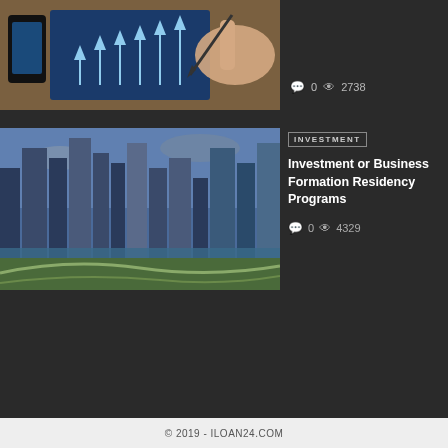[Figure (photo): Hand writing on notebook with upward arrows chart and smartphone, business growth concept]
0  2738
[Figure (photo): Aerial view of city skyline with skyscrapers, waterway, and highway interchange]
INVESTMENT
Investment or Business Formation Residency Programs
0  4329
© 2019 - ILOAN24.COM